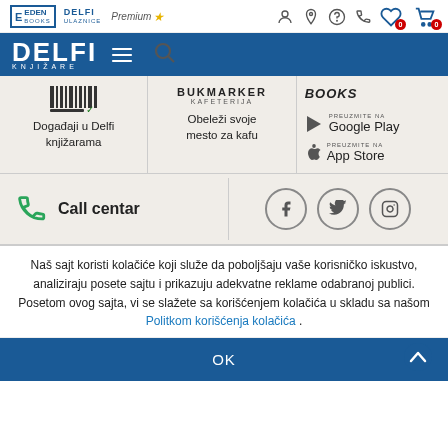Eden Books | Delfi Ulaznice | Premium
[Figure (logo): Delfi Knjizare blue logo bar with hamburger menu and search icon]
[Figure (infographic): Three column section: 1) Događaji u Delfi knjižarama with barcode icon, 2) Bookmarker Kafeterija - Obeleži svoje mesto za kafu, 3) Books app download buttons for Google Play and App Store]
[Figure (infographic): Call centar section with phone icon and social media icons for Facebook, Twitter, Instagram]
Naš sajt koristi kolačiće koji služe da poboljšaju vaše korisničko iskustvo, analiziraju posete sajtu i prikazuju adekvatne reklame odabranoj publici. Posetom ovog sajta, vi se slažete sa korišćenjem kolačića u skladu sa našom Politkom korišćenja kolačića .
OK